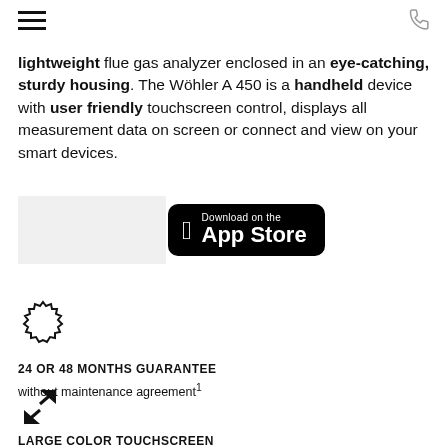Navigation menu and phone icon
lightweight flue gas analyzer enclosed in an eye-catching, sturdy housing. The Wöhler A 450 is a handheld device with user friendly touchscreen control, displays all measurement data on screen or connect and view on your smart devices.
[Figure (screenshot): Download on the App Store button (Apple App Store badge)]
[Figure (illustration): Gear/badge icon representing guarantee]
24 OR 48 MONTHS GUARANTEE
without maintenance agreement¹
[Figure (illustration): Expand/resize arrows icon representing large color touchscreen]
LARGE COLOR TOUCHSCREEN